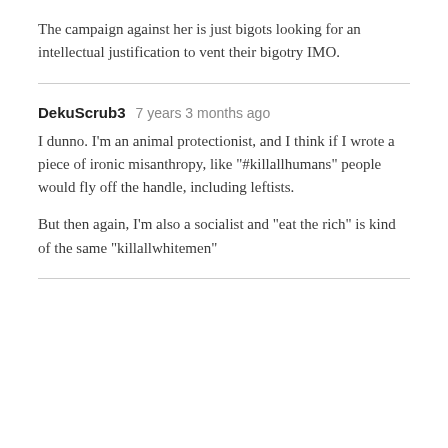The campaign against her is just bigots looking for an intellectual justification to vent their bigotry IMO.
DekuScrub3   7 years 3 months ago
I dunno. I'm an animal protectionist, and I think if I wrote a piece of ironic misanthropy, like "#killallhumans" people would fly off the handle, including leftists.

But then again, I'm also a socialist and "eat the rich" is kind of the same "killallwhitemen"